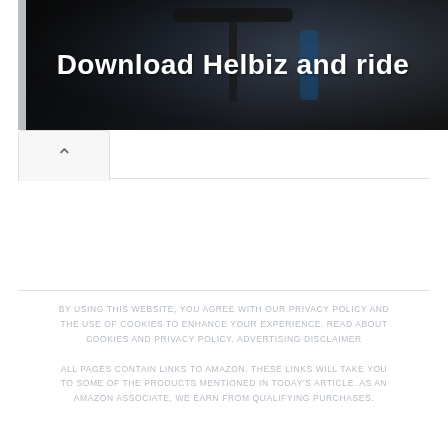[Figure (photo): Banner image showing bicycle handlebars with dark background and bold white text 'Download Helbiz and ride']
BY USING THIS WEBSITE, YOU AGREE WITH OUR PRIVACY POLICY AND THE USE OF COOKIES TO ENHANCE YOUR EXPERIENCE. READ ABOUT COOKIES AND PRIVACY POLICY. ADVERTISING DISCLAIMER ALL PAGES CONTAIN LINKS TO AMAZON. THESE LINKS WILL TAKE YOU TO SOME OF THE PRODUCTS MENTIONED IN TODAY'S ARTICLE. AS AN AMAZON ASSOCIATE, WE EARN FROM QUALIFYING PURCHASES.